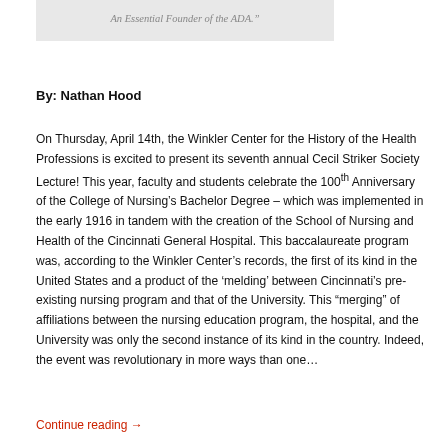An Essential Founder of the ADA.”
By: Nathan Hood
On Thursday, April 14th, the Winkler Center for the History of the Health Professions is excited to present its seventh annual Cecil Striker Society Lecture! This year, faculty and students celebrate the 100th Anniversary of the College of Nursing’s Bachelor Degree – which was implemented in the early 1916 in tandem with the creation of the School of Nursing and Health of the Cincinnati General Hospital. This baccalaureate program was, according to the Winkler Center’s records, the first of its kind in the United States and a product of the ‘melding’ between Cincinnati’s pre-existing nursing program and that of the University. This “merging” of affiliations between the nursing education program, the hospital, and the University was only the second instance of its kind in the country. Indeed, the event was revolutionary in more ways than one…
Continue reading →